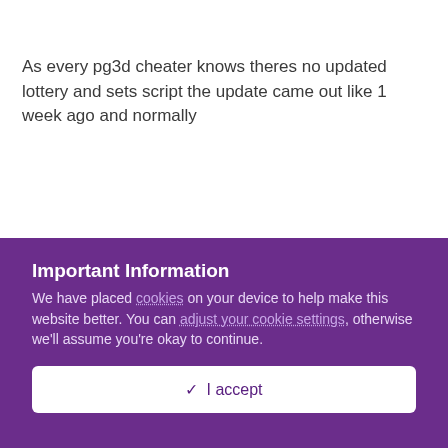As every pg3d cheater knows theres no updated lottery and sets script the update came out like 1 week ago and normally
Important Information
We have placed cookies on your device to help make this website better. You can adjust your cookie settings, otherwise we'll assume you're okay to continue.
✓  I accept